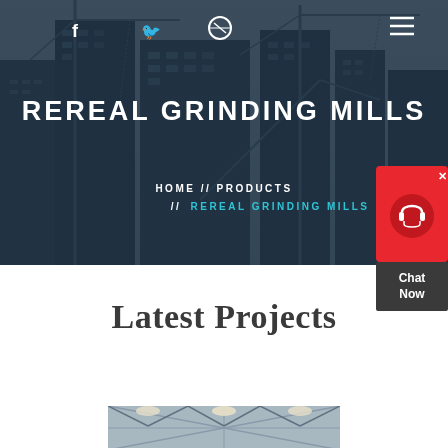[Figure (screenshot): Hero banner with construction/city skyline background showing cranes and buildings, dark blue overlay. Contains navigation icons and site title.]
REREAL GRINDING MILLS
HOME // PRODUCTS // REREAL GRINDING MILLS
Latest Projects
[Figure (photo): Industrial/construction interior photo showing steel framework and lighting]